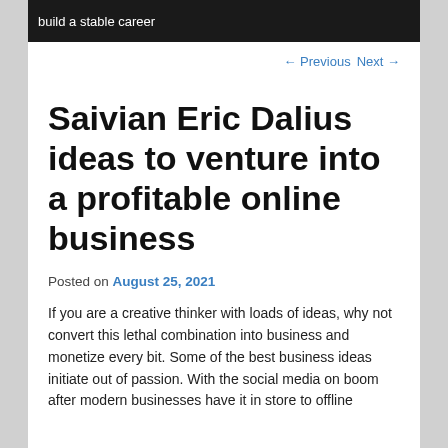build a stable career
← Previous   Next →
Saivian Eric Dalius ideas to venture into a profitable online business
Posted on August 25, 2021
If you are a creative thinker with loads of ideas, why not convert this lethal combination into business and monetize every bit. Some of the best business ideas initiate out of passion. With the social media on boom after modern businesses have it in store to offline